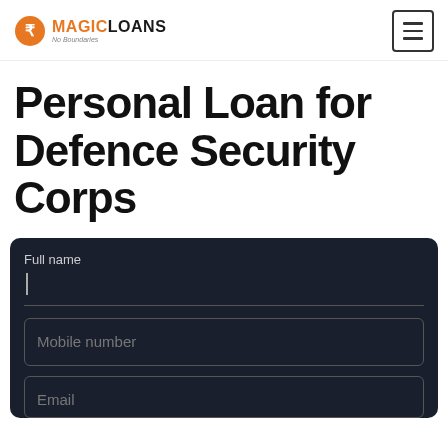MAGICLOANS
Personal Loan for Defence Security Corps
Full name
Mobile number
Email